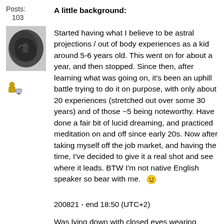Posts:
103
[Figure (photo): User avatar photo showing a dark stone or rock-like object]
[Figure (illustration): Small user/person icon with a computer screen]
A little background:

Started having what I believe to be astral projections / out of body experiences as a kid around 5-6 years old. This went on for about a year, and then stopped. Since then, after learning what was going on, it's been an uphill battle trying to do it on purpose, with only about 20 experiences (stretched out over some 30 years) and of those ~5 being noteworthy. Have done a fair bit of lucid dreaming, and practiced meditation on and off since early 20s. Now after taking myself off the job market, and having the time, I've decided to give it a real shot and see where it leads. BTW I'm not native English speaker so bear with me. 🙂
200821 - end 18:50 (UTC+2)
Was lying down with closed eyes wearing headphones listening to Robert Monroe's 1992 interview. Focus on keeping my eyes